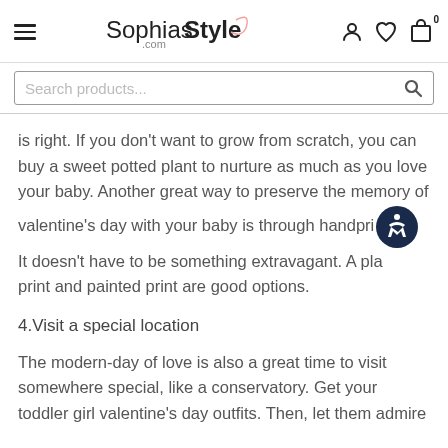SophiasStyle.com
Search products...
is right. If you don't want to grow from scratch, you can buy a sweet potted plant to nurture as much as you love your baby. Another great way to preserve the memory of valentine's day with your baby is through handprint. It doesn't have to be something extravagant. A plaster print and painted print are good options.
4.Visit a special location
The modern-day of love is also a great time to visit somewhere special, like a conservatory. Get your toddler girl valentine's day outfits. Then, let them admire